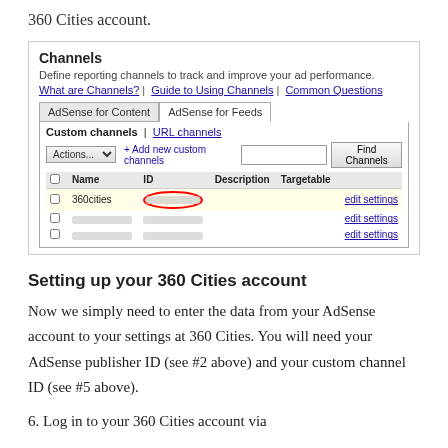360 Cities account.
[Figure (screenshot): Screenshot of Google AdSense Channels interface showing the Custom channels tab with a 360cities channel entry. The channel ID is circled in red. Two other blurred channel rows are visible below. Controls include Actions dropdown, Add new custom channels link, search field, and Find Channels button.]
Setting up your 360 Cities account
Now we simply need to enter the data from your AdSense account to your settings at 360 Cities. You will need your AdSense publisher ID (see #2 above) and your custom channel ID (see #5 above).
6. Log in to your 360 Cities account via